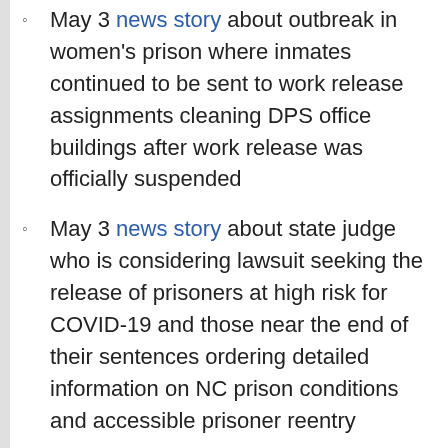May 3 news story about outbreak in women's prison where inmates continued to be sent to work release assignments cleaning DPS office buildings after work release was officially suspended
May 3 news story about state judge who is considering lawsuit seeking the release of prisoners at high risk for COVID-19 and those near the end of their sentences ordering detailed information on NC prison conditions and accessible prisoner reentry programs
May 3 news story about the early release of inmates due to COVID-19
April 30 news story about conditions inside NC prisons during pandemic, includes